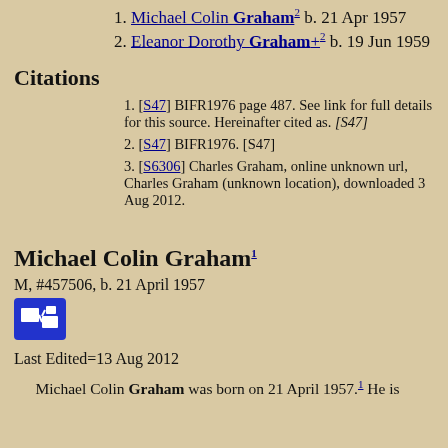1. Michael Colin Graham² b. 21 Apr 1957
2. Eleanor Dorothy Graham+² b. 19 Jun 1959
Citations
1. [S47] BIFR1976 page 487. See link for full details for this source. Hereinafter cited as. [S47]
2. [S47] BIFR1976. [S47]
3. [S6306] Charles Graham, online unknown url, Charles Graham (unknown location), downloaded 3 Aug 2012.
Michael Colin Graham¹
M, #457506, b. 21 April 1957
Last Edited=13 Aug 2012
Michael Colin Graham was born on 21 April 1957.¹ He is